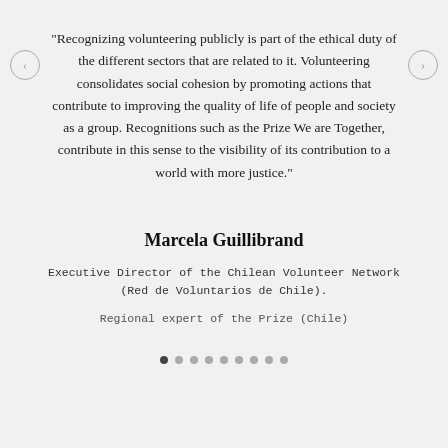"Recognizing volunteering publicly is part of the ethical duty of the different sectors that are related to it. Volunteering consolidates social cohesion by promoting actions that contribute to improving the quality of life of people and society as a group. Recognitions such as the Prize We are Together, contribute in this sense to the visibility of its contribution to a world with more justice."
Marcela Guillibrand
Executive Director of the Chilean Volunteer Network (Red de Voluntarios de Chile).
Regional expert of the Prize (Chile)